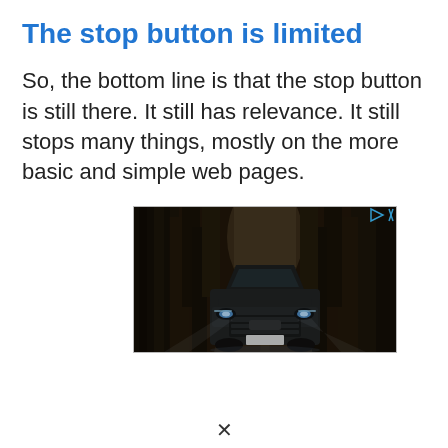The stop button is limited
So, the bottom line is that the stop button is still there. It still has relevance. It still stops many things, mostly on the more basic and simple web pages.
[Figure (photo): A dark SUV/Range Rover driving on a forest road, viewed from the front, with headlights on. Advertisement image with a small ad badge (triangle/play icon and X) in the top right corner.]